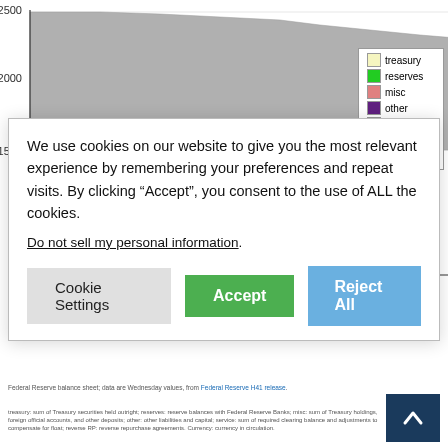[Figure (area-chart): Stacked area chart showing Federal Reserve balance sheet components over time including treasury, reserves, misc, other, service, reverse RP, and currency. Y-axis shows values from 1500 to 2500. A cookie consent overlay covers most of the chart.]
We use cookies on our website to give you the most relevant experience by remembering your preferences and repeat visits. By clicking “Accept”, you consent to the use of ALL the cookies.
Do not sell my personal information.
Cookie Settings
Accept
Reject All
Federal Reserve balance sheet; data are Wednesday values, from Federal Reserve H41 release.
treasury: sum of Treasury securities held outright; reserves: reserve balances with Federal Reserve Banks; misc: sum of Treasury holdings, foreign official accounts, and other deposits; other: other liabilities and capital; service: sum of required clearing balance and adjustments to compensate for float; reverse RP: reverse repurchase agreements. Currency: currency in circulation.